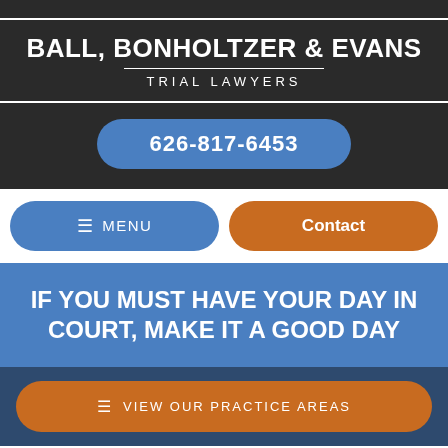[Figure (logo): Law firm logo: Ball, Bonholtzer & Evans Trial Lawyers with white border box on dark background]
626-817-6453
≡ MENU
Contact
IF YOU MUST HAVE YOUR DAY IN COURT, MAKE IT A GOOD DAY
≡ VIEW OUR PRACTICE AREAS
Medical Scope Can Lead to Super Bug Infection